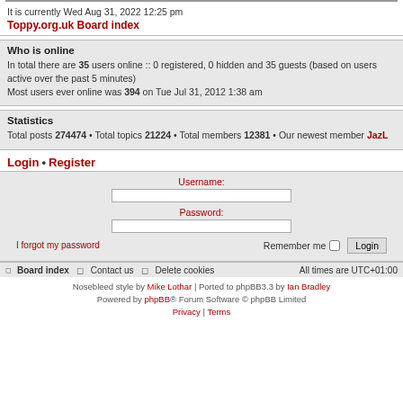It is currently Wed Aug 31, 2022 12:25 pm
Toppy.org.uk Board index
Who is online
In total there are 35 users online :: 0 registered, 0 hidden and 35 guests (based on users active over the past 5 minutes)
Most users ever online was 394 on Tue Jul 31, 2012 1:38 am
Statistics
Total posts 274474 • Total topics 21224 • Total members 12381 • Our newest member JazL
Login • Register
Username:
Password:
I forgot my password
Remember me
Board index  Contact us  Delete cookies  All times are UTC+01:00
Nosebleed style by Mike Lothar | Ported to phpBB3.3 by Ian Bradley
Powered by phpBB® Forum Software © phpBB Limited
Privacy | Terms